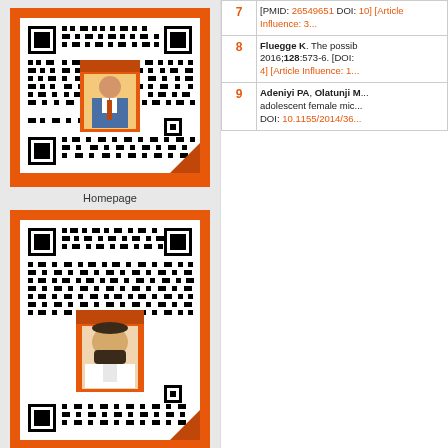[Figure (other): QR code with orange border and person photo overlay (Homepage QR code)]
Homepage
[Figure (other): QR code with orange border and person photo overlay (Online Submission QR code)]
Online Submission
| # | Reference |
| --- | --- |
| 7 | [PMID: 26549651 DOI: 10] [Article Influence: 3... |
| 8 | Fluegge K. The possib... 2016;128:573-6. [DOI: 4] [Article Influence: 1... |
| 9 | Adeniyi PA, Olatunji M... adolescent female mic... DOI: 10.1155/2014/36... |